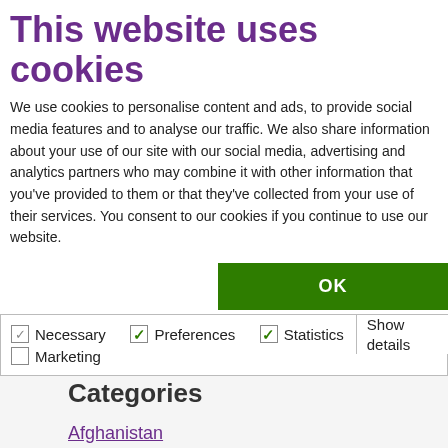This website uses cookies
We use cookies to personalise content and ads, to provide social media features and to analyse our traffic. We also share information about your use of our site with our social media, advertising and analytics partners who may combine it with other information that you've provided to them or that they've collected from your use of their services. You consent to our cookies if you continue to use our website.
[Figure (screenshot): OK button (green) and cookie consent checkboxes: Necessary (greyed check), Preferences (green check), Statistics (green check), Marketing (unchecked). Show details dropdown on right.]
[Figure (screenshot): Select Month dropdown input box]
Categories
Afghanistan
Armenia
Blog